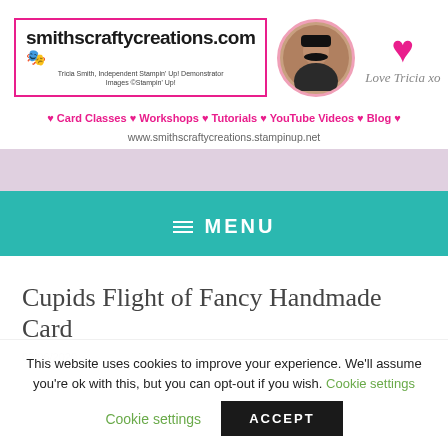[Figure (logo): Smithscraftycreations.com logo with pink border, showing website name, profile photo in pink circle, and pink heart with 'Love Tricia xo' text]
♥ Card Classes ♥ Workshops ♥ Tutorials ♥ YouTube Videos ♥ Blog ♥
www.smithscraftycreations.stampinup.net
≡ MENU
Cupids Flight of Fancy Handmade Card
This website uses cookies to improve your experience. We'll assume you're ok with this, but you can opt-out if you wish. Cookie settings ACCEPT